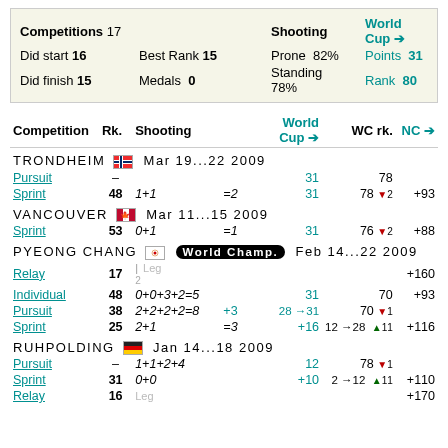| Competitions | 17 |  | Shooting |  | World Cup |
| --- | --- | --- | --- | --- | --- |
| Did start | 16 | Best Rank 15 | Prone | 82% | Points | 31 |
| Did finish | 15 | Medals 0 | Standing | 78% | Rank | 80 |
| Competition | Rk. | Shooting | World Cup | WC rk. | NC |
| --- | --- | --- | --- | --- | --- |
| TRONDHEIM [NO flag] Mar 19...22 2009 |  |  |  |  |  |
| Pursuit | – |  |  | 31 | 78 |  |
| Sprint | 48 | 1+1 | =2 | 31 | 78 ▼2 | +93 |
| VANCOUVER [CA flag] Mar 11...15 2009 |  |  |  |  |  |
| Sprint | 53 | 0+1 | =1 | 31 | 76 ▼2 | +88 |
| PYEONG CHANG [KR flag] World Champ. Feb 14...22 2009 |  |  |  |  |  |
| Relay | 17 | | Leg 2 |  |  |  | +160 |
| Individual | 48 | 0+0+3+2=5 |  | 31 | 70 | +93 |
| Pursuit | 38 | 2+2+2+2=8 | +3 | 28→31 | 70 ▼1 |  |
| Sprint | 25 | 2+1 | =3 | +16 | 12→28 | 69 ▲11 | +116 |
| RUHPOLDING [DE flag] Jan 14...18 2009 |  |  |  |  |  |
| Pursuit | – | 1+1+2+4 |  | 12 | 78 ▼1 |  |
| Sprint | 31 | 0+0 |  | +10 | 2→12 | 77 ▲11 | +110 |
| Relay | 16 | Leg |  |  |  | +170 |